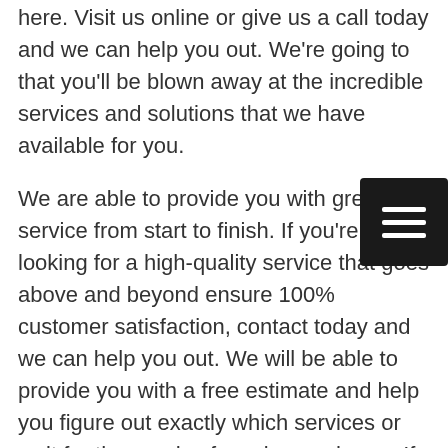here. Visit us online or give us a call today and we can help you out. We're going to that you'll be blown away at the incredible services and solutions that we have available for you.
We are able to provide you with great service from start to finish. If you're looking for a high-quality service that goes above and beyond ensure 100% customer satisfaction, contact today and we can help you out. We will be able to provide you with a free estimate and help you figure out exactly which services or wait for the needs of you in your home. If you're ready for innovative solutions that will transform your home, we've got you covered.
For more information on what we can offer you